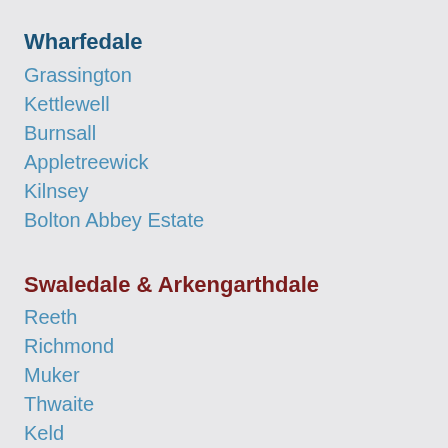Wharfedale
Grassington
Kettlewell
Burnsall
Appletreewick
Kilnsey
Bolton Abbey Estate
Swaledale & Arkengarthdale
Reeth
Richmond
Muker
Thwaite
Keld
Buttertubs
Langthwaite
Gunnerside
Crackpot Hall
Corpse Way